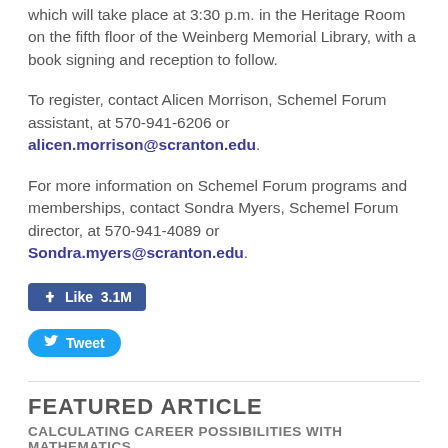which will take place at 3:30 p.m. in the Heritage Room on the fifth floor of the Weinberg Memorial Library, with a book signing and reception to follow.
To register, contact Alicen Morrison, Schemel Forum assistant, at 570-941-6206 or alicen.morrison@scranton.edu.
For more information on Schemel Forum programs and memberships, contact Sondra Myers, Schemel Forum director, at 570-941-4089 or Sondra.myers@scranton.edu.
[Figure (other): Facebook Like button showing 3.1M likes and a Twitter Tweet button]
FEATURED ARTICLE
CALCULATING CAREER POSSIBILITIES WITH MATHEMATICS